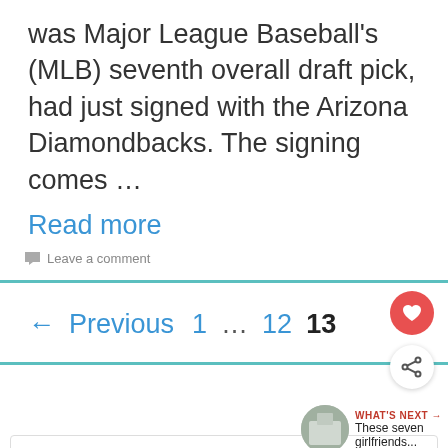was Major League Baseball's (MLB) seventh overall draft pick, had just signed with the Arizona Diamondbacks. The signing comes …
Read more
Leave a comment
← Previous  1  …  12  13
[Figure (screenshot): Heart and share floating action buttons on the right side]
WHAT'S NEXT → These seven girlfriends...
Search ...
[Figure (screenshot): Advertisement banner: I moved a bunch. I didn't want to move that much. Dave Thomas Foundation for Adoption]